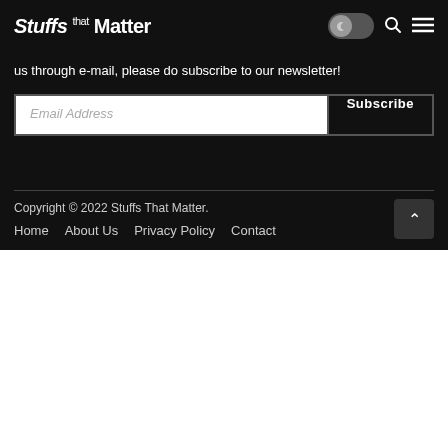Stuffs that Matter
us through e-mail, please do subscribe to our newsletter!
Email Address  Subscribe
Copyright © 2022 Stuffs That Matter.
Home  About Us  Privacy Policy  Contact